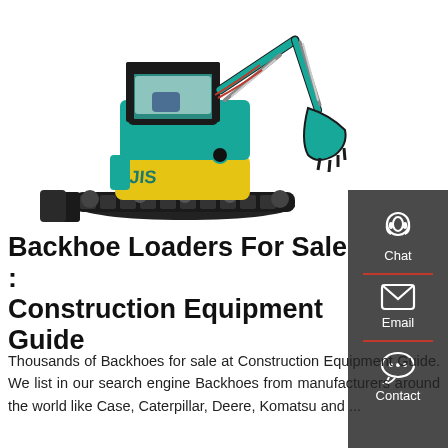[Figure (photo): Teal and yellow mini excavator / backhoe loader on white background, with raised arm and bucket, track undercarriage with blade attachment]
Backhoe Loaders For Sale : Construction Equipment Guide
Thousands of Backhoes for sale at Construction Equipment Guide. We list in our search engine Backhoes from manufacturers around the world like Case, Caterpillar, Deere, Komatsu and ...